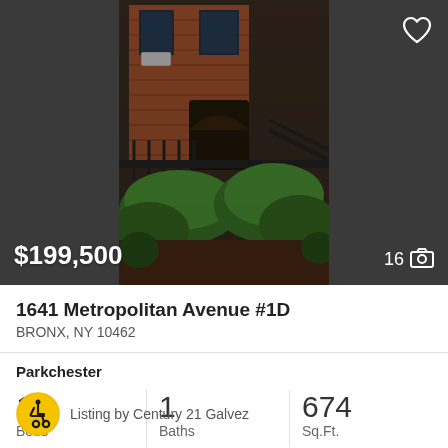[Figure (photo): Exterior photo of a brick apartment building with iron fence railing, stairs, and hedges/bushes in the foreground. Dark overlay surrounds the photo strip.]
$199,500
16 📷
1641 Metropolitan Avenue #1D
BRONX, NY 10462
Parkchester
1
Beds
1
Baths
674
Sq.Ft.
Listing by Century 21 Galvez